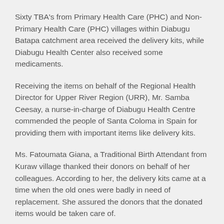Sixty TBA's from Primary Health Care (PHC) and Non-Primary Health Care (PHC) villages within Diabugu Batapa catchment area received the delivery kits, while Diabugu Health Center also received some medicaments.
Receiving the items on behalf of the Regional Health Director for Upper River Region (URR), Mr. Samba Ceesay, a nurse-in-charge of Diabugu Health Centre commended the people of Santa Coloma in Spain for providing them with important items like delivery kits.
Ms. Fatoumata Giana, a Traditional Birth Attendant from Kuraw village thanked their donors on behalf of her colleagues. According to her, the delivery kits came at a time when the old ones were badly in need of replacement. She assured the donors that the donated items would be taken care of.